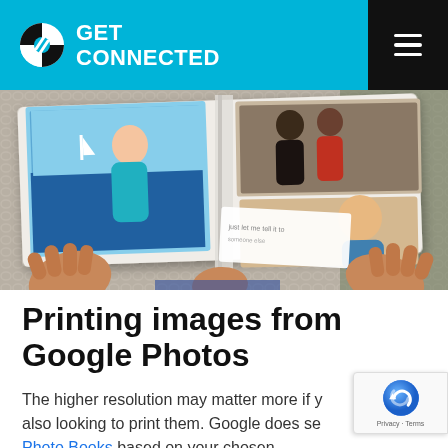GET CONNECTED
[Figure (photo): Person holding open a photo book showing printed photographs, viewed from above on a textured knit background]
Printing images from Google Photos
The higher resolution may matter more if you are also looking to print them. Google does sell Photo Books based on your chosen images. They